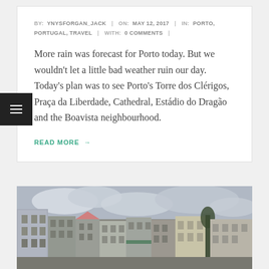BY: YNYSFORGAN_JACK | ON: MAY 12, 2017 | IN: PORTO, PORTUGAL, TRAVEL | WITH: 0 COMMENTS |
More rain was forecast for Porto today. But we wouldn't let a little bad weather ruin our day. Today's plan was to see Porto's Torre dos Clérigos, Praça da Liberdade, Cathedral, Estádio do Dragão and the Boavista neighbourhood.
READ MORE →
[Figure (photo): Photograph of colourful Porto buildings (azulejo facades) under an overcast grey sky, viewed from street level.]